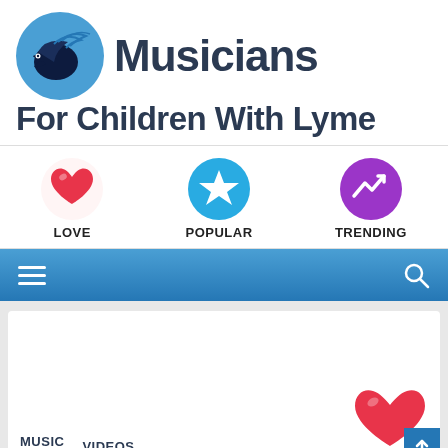[Figure (logo): Musicians For Children With Lyme logo — blue circle with dark navy bird, next to bold dark text 'Musicians For Children With Lyme']
[Figure (infographic): Three icon buttons: red heart labeled LOVE, blue circle star labeled POPULAR, purple circle trending arrow labeled TRENDING]
[Figure (screenshot): Blue gradient navigation bar with hamburger menu icon on left and search icon on right]
[Figure (screenshot): White content card on gray background, with MUSIC and VIDEOS tabs at bottom left, red heart partially visible at bottom right, and blue up-arrow button at far bottom right]